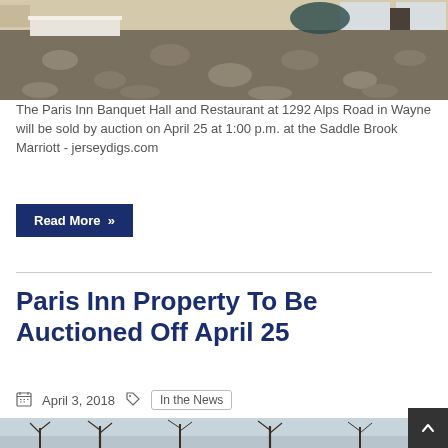[Figure (photo): Interior of the Paris Inn Banquet Hall showing a large empty carpeted room with patterned carpet, tables in background, and windows.]
The Paris Inn Banquet Hall and Restaurant at 1292 Alps Road in Wayne will be sold by auction on April 25 at 1:00 p.m. at the Saddle Brook Marriott - jerseydigs.com
Read More »
Paris Inn Property To Be Auctioned Off April 25
April 3, 2018  In the News
[Figure (photo): Outdoor photo showing bare winter trees against a gray sky, partially visible at the bottom of the page.]